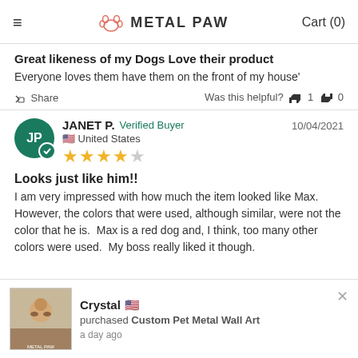METAL PAW  Cart (0)
Great likeness of my Dogs Love their product
Everyone loves them have them on the front of my house'
Share  Was this helpful?  1  0
JANET P.  Verified Buyer  United States  10/04/2021  ★★★★☆
Looks just like him!!
I am very impressed with how much the item looked like Max. However, the colors that were used, although similar, were not the color that he is.  Max is a red dog and, I think, too many other colors were used.  My boss really liked it though.
Crystal 🇺🇸  purchased Custom Pet Metal Wall Art  a day ago